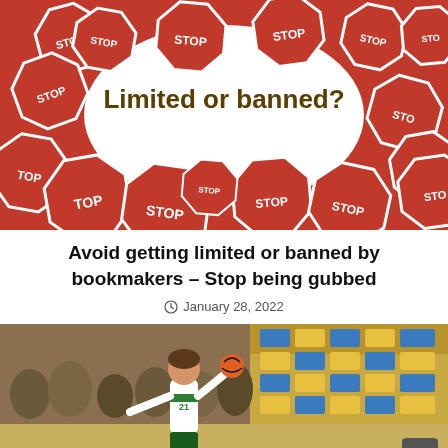[Figure (photo): Collage of red stop signs surrounding a white oval area with text 'Limited or banned?' in dark gold/brown bold font]
Avoid getting limited or banned by bookmakers – Stop being gubbed
January 28, 2022
[Figure (photo): A handball player in white and green uniform jumping to throw the ball, with spectators in blue and yellow seats in the background]